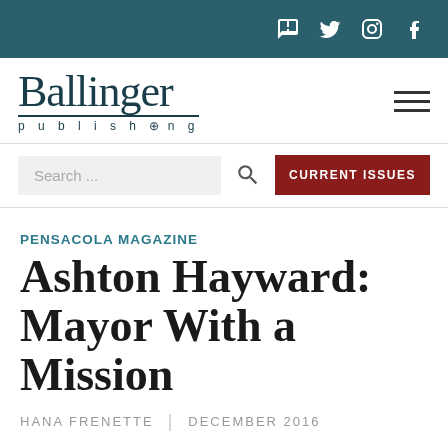Ballinger Publishing — social icons header bar
[Figure (logo): Ballinger Publishing logo with serif 'Ballinger' text and 'publishing' in small caps below, with hamburger menu icon to the right]
Search ...
CURRENT ISSUES
PENSACOLA MAGAZINE
Ashton Hayward: Mayor With a Mission
HANA FRENETTE | DECEMBER 2016